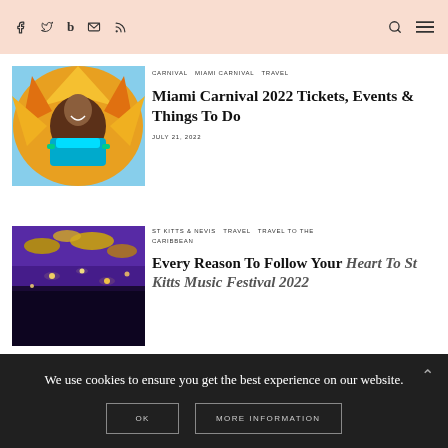Social icons: Facebook, Twitter, Bloglovin, Email, RSS | Search, Menu
[Figure (photo): Woman in colorful feathered carnival costume smiling]
CARNIVAL  MIAMI CARNIVAL  TRAVEL
Miami Carnival 2022 Tickets, Events & Things To Do
JULY 21, 2022
[Figure (photo): Purple and gold decorative ceiling or stage lights at music festival]
ST KITTS & NEVIS  TRAVEL  TRAVEL TO THE CARIBBEAN
Every Reason To Follow Your Heart To St Kitts Music Festival 2022
We use cookies to ensure you get the best experience on our website.
OK  MORE INFORMATION